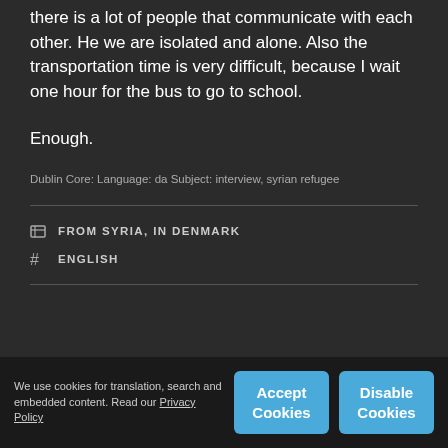there is a lot of people that communicate with each other. He we are isolated and alone. Also the transportation time is very difficult, because I wait one hour for the bus to go to school.
Enough.
Dublin Core: Language: da Subject: interview, syrian refugee
FROM SYRIA, IN DENMARK
ENGLISH
We use cookies for translation, search and embedded content. Read our Privacy Policy
Accept Cookies
Disable Cookies